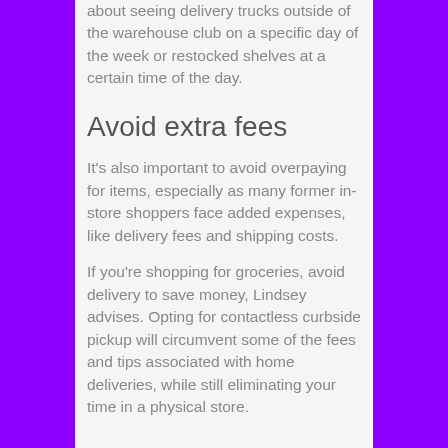about seeing delivery trucks outside of the warehouse club on a specific day of the week or restocked shelves at a certain time of the day.
Avoid extra fees
It's also important to avoid overpaying for items, especially as many former in-store shoppers face added expenses, like delivery fees and shipping costs.
If you're shopping for groceries, avoid delivery to save money, Lindsey advises. Opting for contactless curbside pickup will circumvent some of the fees and tips associated with home deliveries, while still eliminating your time in a physical store.